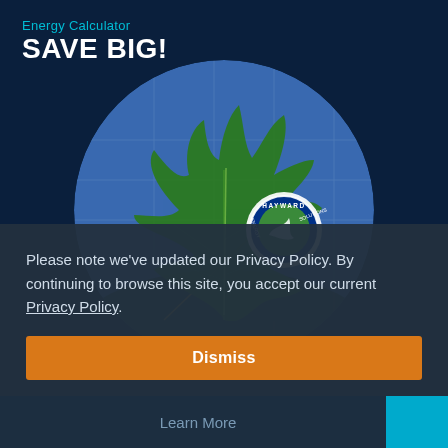Energy Calculator
SAVE BIG!
[Figure (illustration): Circular image featuring a green maple leaf on a blue sky background with the Hayward Energy Solutions logo/badge visible on the right side of the leaf]
Please note we've updated our Privacy Policy. By continuing to browse this site, you accept our current Privacy Policy.
Dismiss
Learn More